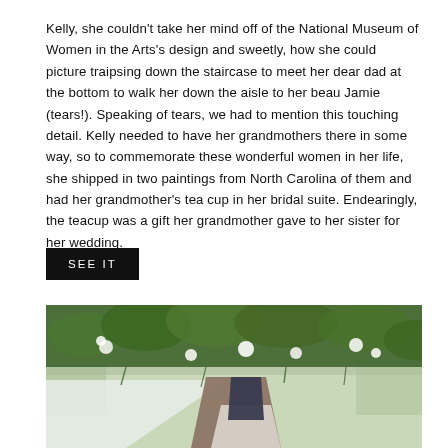Kelly, she couldn't take her mind off of the National Museum of Women in the Arts's design and sweetly, how she could picture traipsing down the staircase to meet her dear dad at the bottom to walk her down the aisle to her beau Jamie (tears!). Speaking of tears, we had to mention this touching detail. Kelly needed to have her grandmothers there in some way, so to commemorate these wonderful women in her life, she shipped in two paintings from North Carolina of them and had her grandmother's tea cup in her bridal suite. Endearingly, the teacup was a gift her grandmother gave to her sister for her wedding.
SEE IT
[Figure (photo): Wedding photo of a couple kissing under a lush green floral canopy with hanging greenery and white flowers, outdoors.]